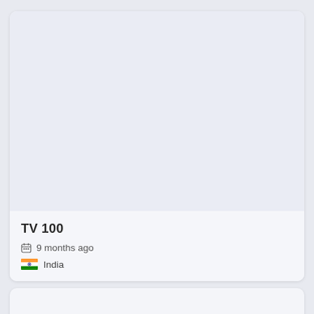[Figure (screenshot): Card UI element with large light blue-grey image placeholder area at top]
TV 100
9 months ago
India
[Figure (screenshot): Second card UI element with light grey image placeholder area, partially visible]